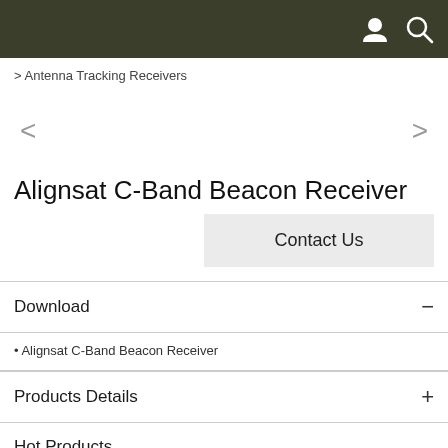> Antenna Tracking Receivers
Alignsat C-Band Beacon Receiver
Contact Us
Download
Alignsat C-Band Beacon Receiver
Products Details
Hot Products